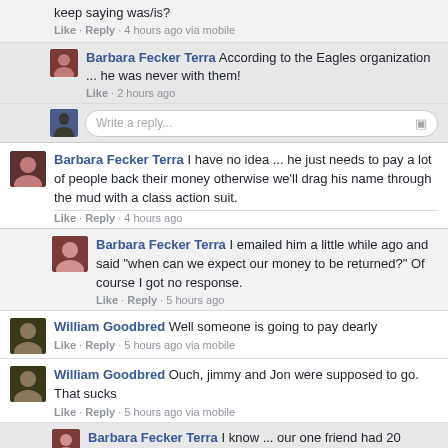keep saying was/is?
Like · Reply · 4 hours ago via mobile
Barbara Fecker Terra According to the Eagles organization ... he was never with them!
Like · 2 hours ago
Write a reply...
Barbara Fecker Terra I have no idea ... he just needs to pay a lot of people back their money otherwise we'll drag his name through the mud with a class action suit.
Like · Reply · 4 hours ago
Barbara Fecker Terra I emailed him a little while ago and said "when can we expect our money to be returned?" Of course I got no response.
Like · Reply · 5 hours ago
William Goodbred Well someone is going to pay dearly
Like · Reply · 5 hours ago via mobile
William Goodbred Ouch, jimmy and Jon were supposed to go. That sucks
Like · Reply · 5 hours ago via mobile
Barbara Fecker Terra I know ... our one friend had 20 people going, rented a limo, paid for an extra night, the whole thing.
Like · 5 hours ago
Write a reply...
Barbara Fecker Terra He was running a trip to Denver this weekend from Philly...people paid for this many months...